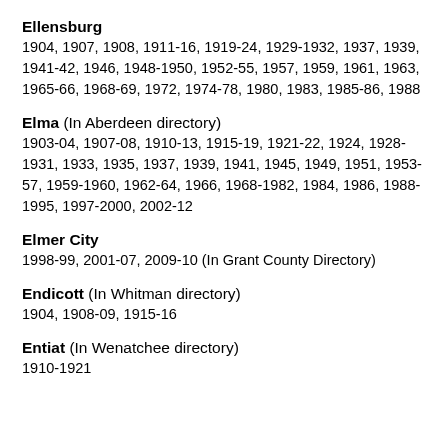Ellensburg
1904, 1907, 1908, 1911-16, 1919-24, 1929-1932, 1937, 1939, 1941-42, 1946, 1948-1950, 1952-55, 1957, 1959, 1961, 1963, 1965-66, 1968-69, 1972, 1974-78, 1980, 1983, 1985-86, 1988
Elma (In Aberdeen directory)
1903-04, 1907-08, 1910-13, 1915-19, 1921-22, 1924, 1928-1931, 1933, 1935, 1937, 1939, 1941, 1945, 1949, 1951, 1953-57, 1959-1960, 1962-64, 1966, 1968-1982, 1984, 1986, 1988-1995, 1997-2000, 2002-12
Elmer City
1998-99, 2001-07, 2009-10 (In Grant County Directory)
Endicott (In Whitman directory)
1904, 1908-09, 1915-16
Entiat (In Wenatchee directory)
1910-1921